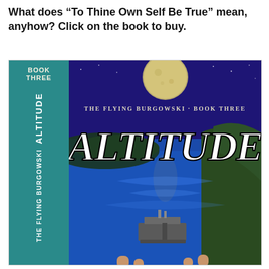What does “To Thine Own Self Be True” mean, anyhow? Click on the book to buy.
[Figure (illustration): Book cover for 'Altitude: The Flying Burgowski Book Three'. Shows an aerial photograph of a blue water bay with islands and a ship, a large moon in a night sky above, and the title 'ALTITUDE' in large white letters. The spine on the left reads 'BOOK THREE', 'ALTITUDE', and 'THE FLYING BURGOWSKI' vertically on a teal background.]